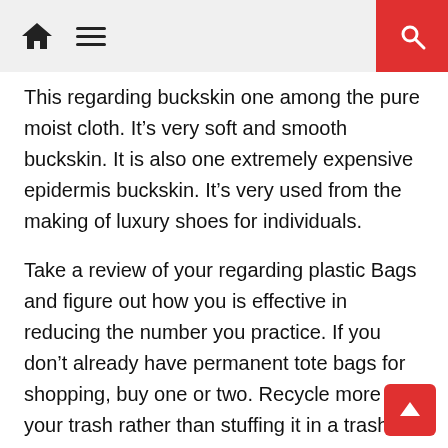Home | Menu | Search
This regarding buckskin one among the pure moist cloth. It’s very soft and smooth buckskin. It is also one extremely expensive epidermis buckskin. It’s very used from the making of luxury shoes for individuals.
Take a review of your regarding plastic Bags and figure out how you is effective in reducing the number you practice. If you don’t already have permanent tote bags for shopping, buy one or two. Recycle more of your trash rather than stuffing it in a trash backpack. Flatten aktivo so they consider up lots of hours of room in your trash baggage. Don’t buy larger bags than must and then fill 1 only half full. That’s like tossing a various change in the trash once. Buy smaller bags to begin with–or none at all–and save some money: retire on a budget.